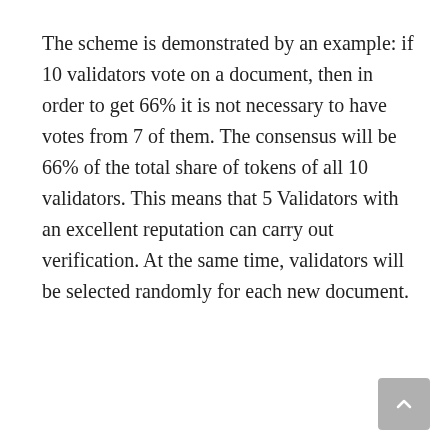The scheme is demonstrated by an example: if 10 validators vote on a document, then in order to get 66% it is not necessary to have votes from 7 of them. The consensus will be 66% of the total share of tokens of all 10 validators. This means that 5 Validators with an excellent reputation can carry out verification. At the same time, validators will be selected randomly for each new document.